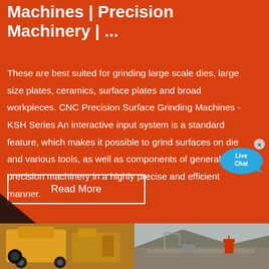Machines | Precision Machinery | ...
These are best suited for grinding large scale dies, large size plates, ceramics, surface plates and broad workpieces. CNC Precision Surface Grinding Machines - KSH Series An interactive input system is a standard feature, which makes it possible to grind surfaces on dies and various tools, as well as components of general precision machinery in a highly precise and efficient manner.
[Figure (screenshot): Live Chat button bubble in blue]
Read More
[Figure (photo): Two photos side by side: left shows yellow industrial machinery, right shows an outdoor quarry or mining site with equipment]